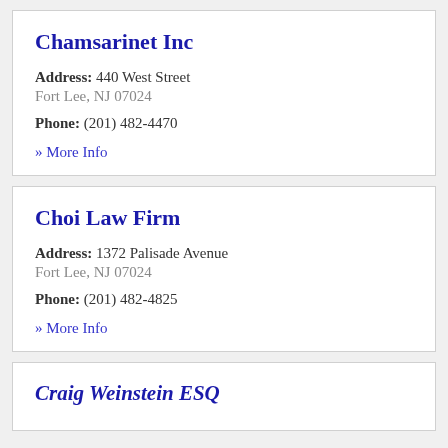Chamsarinet Inc
Address: 440 West Street
Fort Lee, NJ 07024
Phone: (201) 482-4470
» More Info
Choi Law Firm
Address: 1372 Palisade Avenue
Fort Lee, NJ 07024
Phone: (201) 482-4825
» More Info
Craig Weinstein ESQ